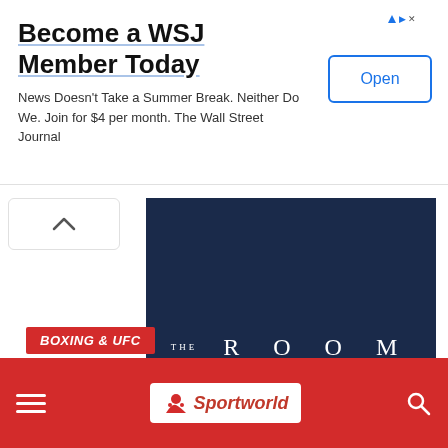[Figure (screenshot): WSJ advertisement banner: 'Become a WSJ Member Today' with Open button and AdChoices icon]
Become a WSJ Member Today
News Doesn't Take a Summer Break. Neither Do We. Join for $4 per month. The Wall Street Journal
[Figure (logo): The Room logo on dark navy background]
[Figure (logo): Sportworld logo on red navigation bar with hamburger menu and search icon]
BOXING & UFC